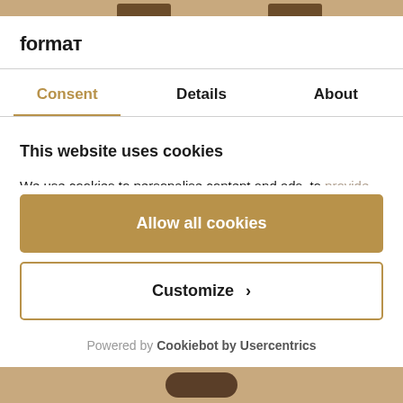format
Consent	Details	About
This website uses cookies
We use cookies to personalise content and ads, to provide social media features and to analyse our traffic. We also share information about your use of our site...
Allow all cookies
Customize >
Powered by Cookiebot by Usercentrics